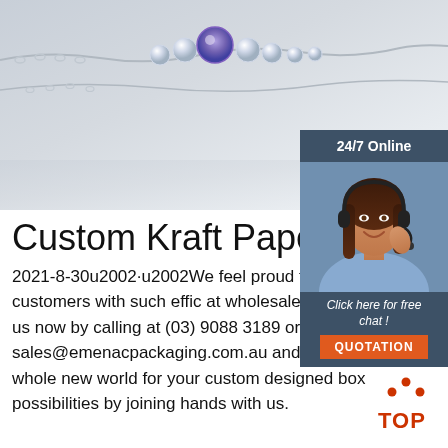[Figure (photo): Close-up photo of a diamond and amethyst bracelet/necklace with silver chain on a light gray background]
[Figure (infographic): 24/7 Online chat widget showing a woman with headset, 'Click here for free chat!' text, and orange QUOTATION button]
Custom Kraft Paper Bo
2021-8-30u2002·u2002We feel proud to facilitating our customers with such effic at wholesale prices. Contact us now by calling at (03) 9088 3189 or email at sales@emenacpackaging.com.au and start exploring a whole new world for your custom designed box possibilities by joining hands with us.
[Figure (illustration): Red 'TOP' icon with dots above the text, indicating scroll-to-top button]